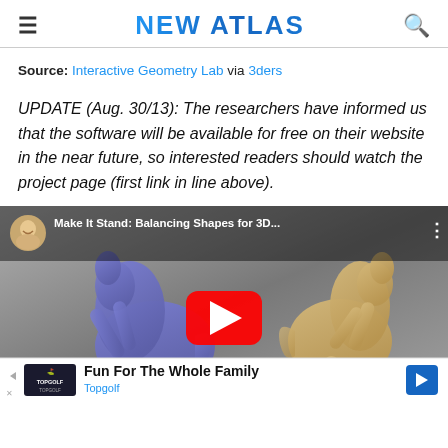NEW ATLAS
Source: Interactive Geometry Lab via 3ders
UPDATE (Aug. 30/13): The researchers have informed us that the software will be available for free on their website in the near future, so interested readers should watch the project page (first link in line above).
[Figure (screenshot): YouTube video embed showing two 3D horse models (one purple/blue, one tan/gold) rearing up, with video title 'Make It Stand: Balancing Shapes for 3D...' and a YouTube play button overlay. Below is an advertisement for Topgolf: 'Fun For The Whole Family - Topgolf'.]